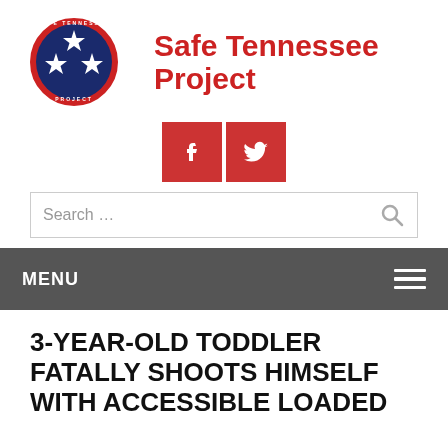[Figure (logo): Safe Tennessee Project circular logo with blue background, red border, and three white stars]
Safe Tennessee Project
[Figure (other): Facebook and Twitter social media buttons in red squares]
Search …
MENU
3-YEAR-OLD TODDLER FATALLY SHOOTS HIMSELF WITH ACCESSIBLE LOADED